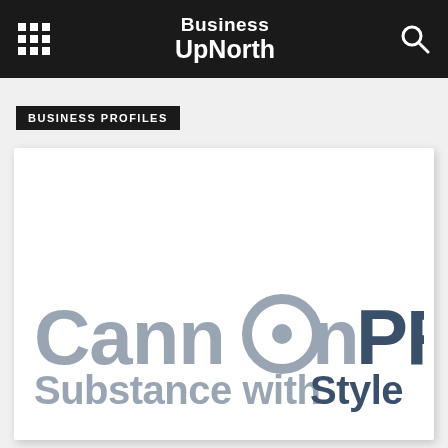Business UpNorth
BUSINESS PROFILES
[Figure (logo): Cannon PR logo with tagline 'Substance with Style'. 'Cannon' in light grey with a stylized 'o' containing a dot, 'PR' in dark navy blue. Tagline 'Substance with' in light grey and 'Style' in dark navy.]